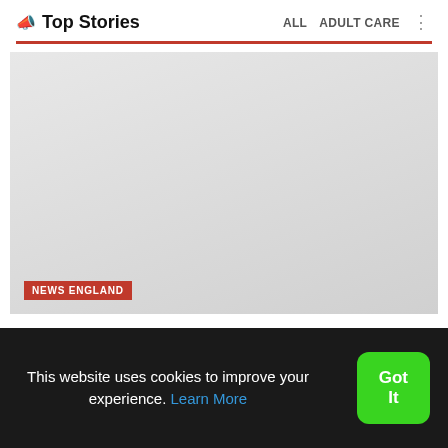Top Stories | ALL  ADULT CARE
[Figure (photo): A large placeholder/grey image area with a 'NEWS ENGLAND' red badge overlay at the bottom left]
Man remanded in custody after being charged with murder of 87-year-old on mobility scooter
This website uses cookies to improve your experience. Learn More
Got It